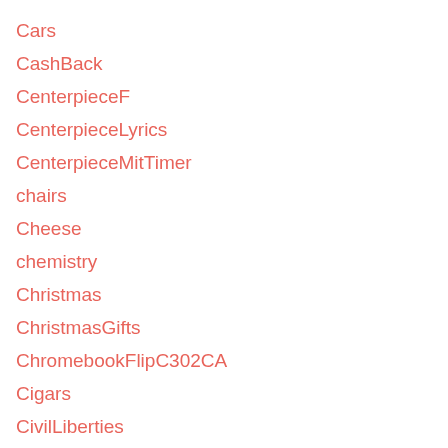Cars
CashBack
CenterpieceF
CenterpieceLyrics
CenterpieceMitTimer
chairs
Cheese
chemistry
Christmas
ChristmasGifts
ChromebookFlipC302CA
Cigars
CivilLiberties
cleancuisine
ClinicelSimulation